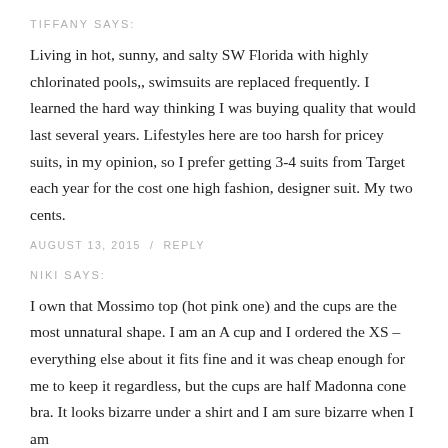TIFFANY SAYS:
Living in hot, sunny, and salty SW Florida with highly chlorinated pools,, swimsuits are replaced frequently. I learned the hard way thinking I was buying quality that would last several years. Lifestyles here are too harsh for pricey suits, in my opinion, so I prefer getting 3-4 suits from Target each year for the cost one high fashion, designer suit. My two cents.
AUGUST 13, 2015  /  REPLY
NIKI SAYS:
I own that Mossimo top (hot pink one) and the cups are the most unnatural shape. I am an A cup and I ordered the XS – everything else about it fits fine and it was cheap enough for me to keep it regardless, but the cups are half Madonna cone bra. It looks bizarre under a shirt and I am sure bizarre when I am